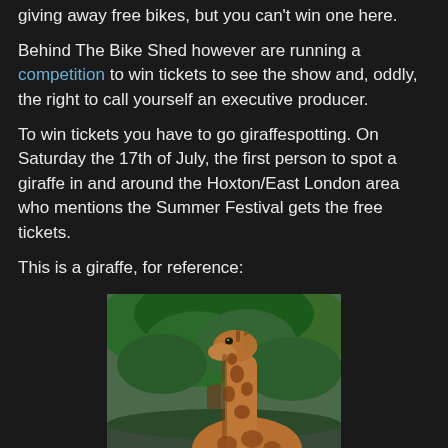giving away free bikes, but you can't win one here.
Behind The Bike Shed however are running a competition to win tickets to see the show and, oddly, the right to call yourself an executive producer.
To win tickets you have to go giraffespotting. On Saturday the 17th of July, the first person to spot a giraffe in and around the Hoxton/East London area who mentions the Summer Festival gets the free tickets.
This is a giraffe, for reference:
[Figure (photo): Photograph of a giraffe with its long neck visible against a background of green trees and bushes in what appears to be an African savanna setting.]